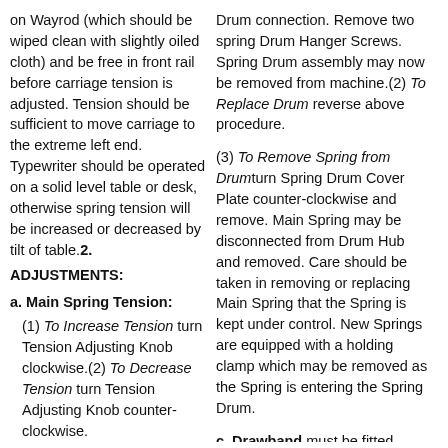on Wayrod (which should be wiped clean with slightly oiled cloth) and be free in front rail before carriage tension is adjusted. Tension should be sufficient to move carriage to the extreme left end. Typewriter should be operated on a solid level table or desk, otherwise spring tension will be increased or decreased by tilt of table.
2. ADJUSTMENTS:
a. Main Spring Tension:
(1) To Increase Tension turn Tension Adjusting Knob clockwise.(2) To Decrease Tension turn Tension Adjusting Knob counter-clockwise.
b. Main Spring Drum:
Drum connection. Remove two spring Drum Hanger Screws. Spring Drum assembly may now be removed from machine.(2) To Replace Drum reverse above procedure.
(3) To Remove Spring from Drumturn Spring Drum Cover Plate counter-clockwise and remove. Main Spring may be disconnected from Drum Hub and removed. Care should be taken in removing or replacing Main Spring that the Spring is kept under control. New Springs are equipped with a holding clamp which may be removed as the Spring is entering the Spring Drum.
c. Drawband must be fitted